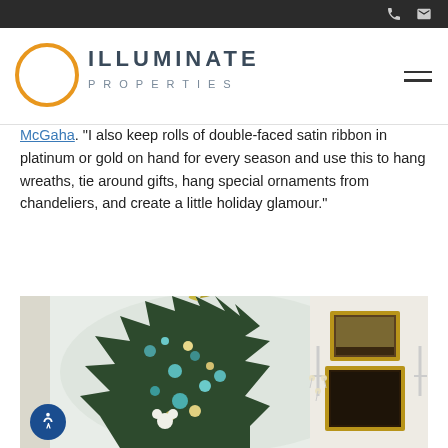Illuminate Properties website header with logo and navigation
McGaha. “I also keep rolls of double-faced satin ribbon in platinum or gold on hand for every season and use this to hang wreaths, tie around gifts, hang special ornaments from chandeliers, and create a little holiday glamour.”
[Figure (photo): A decorated Christmas tree with teal and gold ornaments and feathered topper, next to a white wall with gold-framed paintings and crystal wall sconces.]